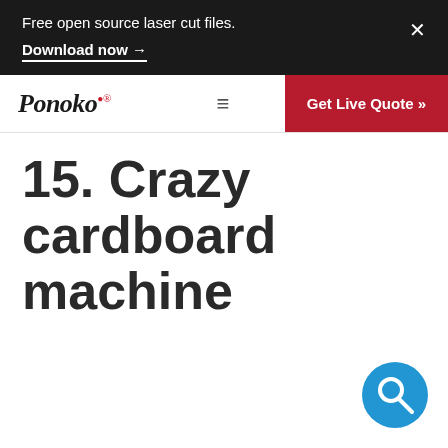Free open source laser cut files.
Download now →
[Figure (logo): Ponoko logo in italic serif font with red trademark symbol]
[Figure (other): Hamburger menu icon (three horizontal lines)]
[Figure (other): Red button: Get Live Quote »]
15. Crazy cardboard machine
[Figure (other): Blue circular search/magnifying glass floating action button]